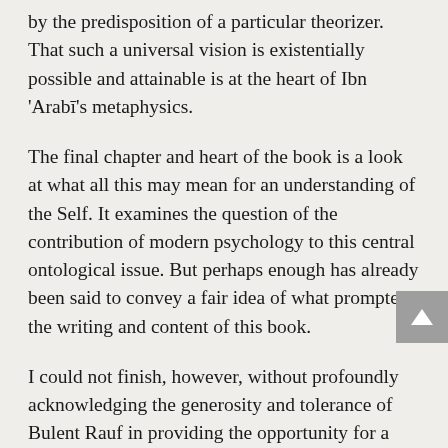by the predisposition of a particular theorizer. That such a universal vision is existentially possible and attainable is at the heart of Ibn 'Arabī's metaphysics.
The final chapter and heart of the book is a look at what all this may mean for an understanding of the Self. It examines the question of the contribution of modern psychology to this central ontological issue. But perhaps enough has already been said to convey a fair idea of what prompted the writing and content of this book.
I could not finish, however, without profoundly acknowledging the generosity and tolerance of Bulent Rauf in providing the opportunity for a student steeped in the analytical tradition of twentieth century Western philosophy to engage in the study of Ibn 'Arabī. If this was not an act of sheer generosity and tolerance – I do not know